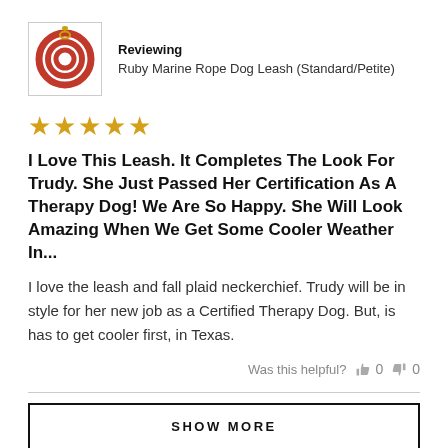[Figure (logo): Ruby Marine Rope Dog Leash product image showing a red rope leash coiled in a circular shape]
Reviewing
Ruby Marine Rope Dog Leash (Standard/Petite)
[Figure (other): 5 gold star rating icons]
I Love This Leash. It Completes The Look For Trudy. She Just Passed Her Certification As A Therapy Dog! We Are So Happy. She Will Look Amazing When We Get Some Cooler Weather In...
I love the leash and fall plaid neckerchief. Trudy will be in style for her new job as a Certified Therapy Dog. But, is has to get cooler first, in Texas.
Was this helpful?  0  0
SHOW MORE